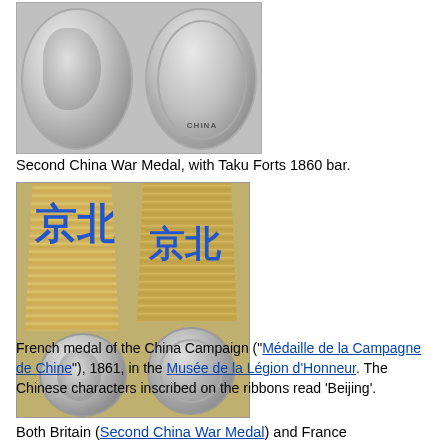[Figure (photo): Two sides of the Second China War Medal — obverse showing a profile portrait and reverse showing 'CHINA' inscription, photographed against grey background.]
Second China War Medal, with Taku Forts 1860 bar.
[Figure (photo): French medal of the China Campaign (Médaille de la Campagne de Chine), 1861. Two views showing front and back, with golden ribbons bearing blue Chinese characters reading 'Beijing' (京北).]
French medal of the China Campaign ("Médaille de la Campagne de Chine"), 1861, in the Musée de la Légion d'Honneur. The Chinese characters inscribed on the ribbons read 'Beijing'.
Both Britain (Second China War Medal) and France